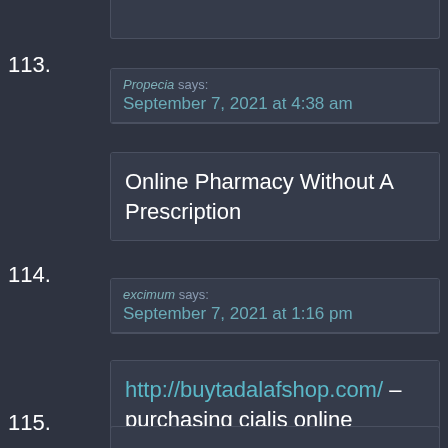113.
Propecia says: September 7, 2021 at 4:38 am
Online Pharmacy Without A Prescription
114.
excimum says: September 7, 2021 at 1:16 pm
http://buytadalafshop.com/ – purchasing cialis online
115.